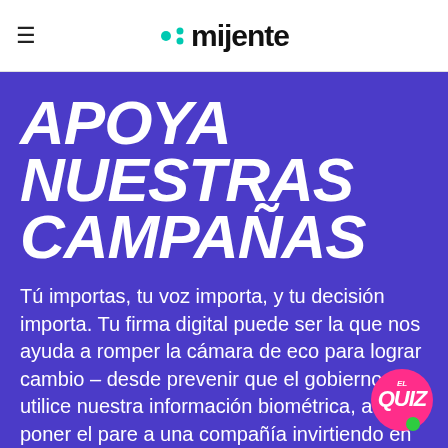≡ mijente
APOYA NUESTRAS CAMPAÑAS
Tú importas, tu voz importa, y tu decisión importa. Tu firma digital puede ser la que nos ayuda a romper la cámara de eco para lograr cambio – desde prevenir que el gobierno utilice nuestra información biométrica, a poner el pare a una compañía invirtiendo en campañas discriminatorias, a defender a nuestras comunidades con las detenciones y las deportaciones.
[Figure (logo): El QUIZ circular badge logo in pink/magenta with green dot]